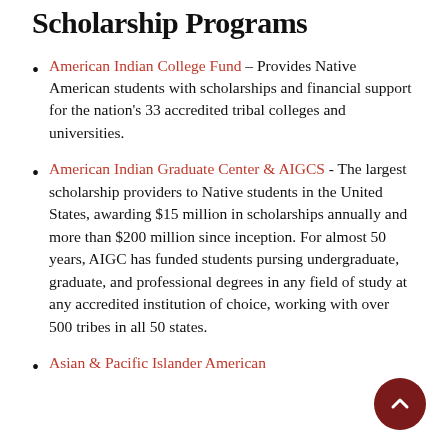Scholarship Programs
American Indian College Fund – Provides Native American students with scholarships and financial support for the nation's 33 accredited tribal colleges and universities.
American Indian Graduate Center & AIGCS - The largest scholarship providers to Native students in the United States, awarding $15 million in scholarships annually and more than $200 million since inception. For almost 50 years, AIGC has funded students pursing undergraduate, graduate, and professional degrees in any field of study at any accredited institution of choice, working with over 500 tribes in all 50 states.
Asian & Pacific Islander American